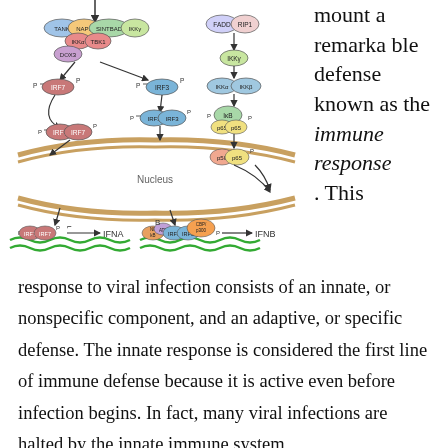[Figure (illustration): Biological signaling pathway diagram showing IRF3/IRF7 and NF-kB pathways. Left side: TANK, NAP1, SINTBAD, IKKy, IKKa, TBK1, DOX3 complex at top, leading to phosphorylated IRF7 and IRF3, which form dimers and translocate to nucleus, activating IFNA gene. Right side: FADD, RIP1 complex leading to IKKy, IKKa, IKKb, then phosphorylated IkB and p65/p50 dimers entering nucleus activating IFNB gene with CBP/p300 coactivator. Green wavy lines represent DNA. Beige curved shapes represent nuclear membrane.]
mount a remarkable defense known as the immune response. This response to viral infection consists of an innate, or nonspecific component, and an adaptive, or specific defense. The innate response is considered the first line of immune defense because it is active even before infection begins. In fact, many viral infections are halted by the innate immune system,